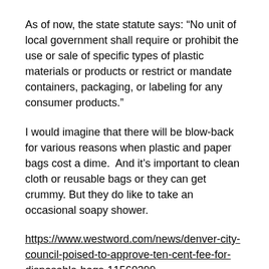As of now, the state statute says: “No unit of local government shall require or prohibit the use or sale of specific types of plastic materials or products or restrict or mandate containers, packaging, or labeling for any consumer products.”
I would imagine that there will be blow-back for various reasons when plastic and paper bags cost a dime.  And it’s important to clean cloth or reusable bags or they can get crummy. But they do like to take an occasional soapy shower.
https://www.westword.com/news/denver-city-council-poised-to-approve-ten-cent-fee-for-disposable-bags-11560399
Denver shoppers might start paying fees on